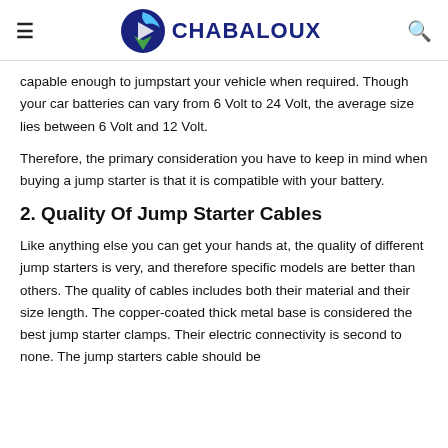CHABALOUX
capable enough to jumpstart your vehicle when required. Though your car batteries can vary from 6 Volt to 24 Volt, the average size lies between 6 Volt and 12 Volt.
Therefore, the primary consideration you have to keep in mind when buying a jump starter is that it is compatible with your battery.
2. Quality Of Jump Starter Cables
Like anything else you can get your hands at, the quality of different jump starters is very, and therefore specific models are better than others. The quality of cables includes both their material and their size length. The copper-coated thick metal base is considered the best jump starter clamps. Their electric connectivity is second to none. The jump starters cable should be